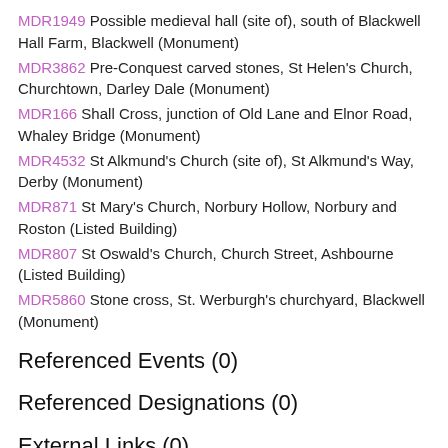MDR1949 Possible medieval hall (site of), south of Blackwell Hall Farm, Blackwell (Monument)
MDR3862 Pre-Conquest carved stones, St Helen's Church, Churchtown, Darley Dale (Monument)
MDR166 Shall Cross, junction of Old Lane and Elnor Road, Whaley Bridge (Monument)
MDR4532 St Alkmund's Church (site of), St Alkmund's Way, Derby (Monument)
MDR871 St Mary's Church, Norbury Hollow, Norbury and Roston (Listed Building)
MDR807 St Oswald's Church, Church Street, Ashbourne (Listed Building)
MDR5860 Stone cross, St. Werburgh's churchyard, Blackwell (Monument)
Referenced Events (0)
Referenced Designations (0)
External Links (0)